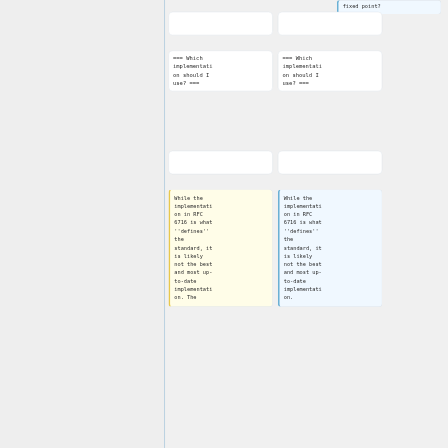fixed point?
=== Which implementation should I use? ===
=== Which implementation should I use? ===
While the implementation in RFC 6716 is what ''defines'' the standard, it is likely not the best and most up-to-date implementation. The
While the implementation in RFC 6716 is what ''defines'' the standard, it is likely not the best and most up-to-date implementation on.